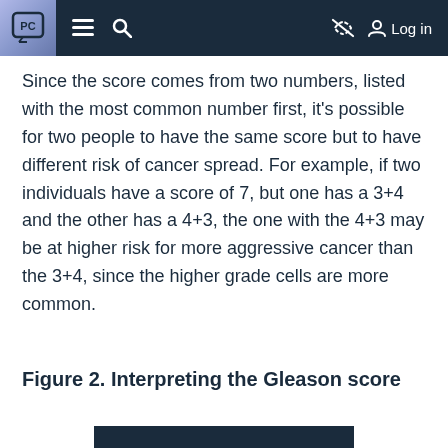PC  ≡  🔍  [eye-off icon]  Log in
Since the score comes from two numbers, listed with the most common number first, it's possible for two people to have the same score but to have different risk of cancer spread. For example, if two individuals have a score of 7, but one has a 3+4 and the other has a 4+3, the one with the 4+3 may be at higher risk for more aggressive cancer than the 3+4, since the higher grade cells are more common.
Figure 2. Interpreting the Gleason score
[Figure (other): Bottom dark bar — partial view of a figure image]